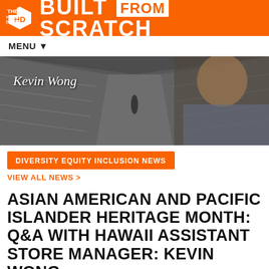BUILT FROM SCRATCH
MENU ▼
[Figure (photo): Hero banner image showing a Home Depot store aisle from above with a man (Kevin Wong) in the foreground on the right side. Cursive text overlay reads 'Kevin Wong'.]
DIVERSITY EQUITY INCLUSION NEWS
VIEW ALL NEWS >
ASIAN AMERICAN AND PACIFIC ISLANDER HERITAGE MONTH: Q&A WITH HAWAII ASSISTANT STORE MANAGER: KEVIN WONG